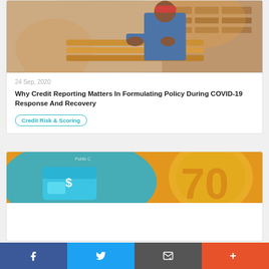[Figure (photo): Two workers handling wooden planks in a lumber workshop]
24 Sep, 2020
Why Credit Reporting Matters In Formulating Policy During COVID-19 Response And Recovery
Credit Risk & Scoring
[Figure (photo): Financial imagery with dollar sign graphic and golden coins on orange and blue background]
f  (Twitter bird icon)  (Email icon)  +